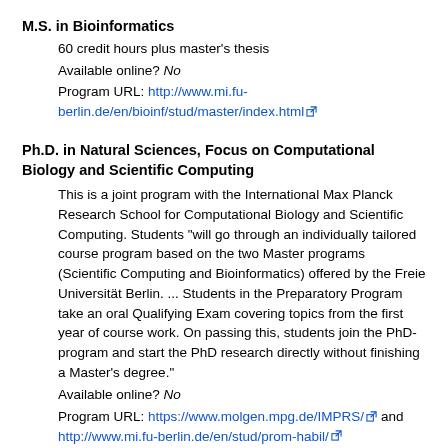M.S. in Bioinformatics
60 credit hours plus master's thesis
Available online? No
Program URL: http://www.mi.fu-berlin.de/en/bioinf/stud/master/index.html
Ph.D. in Natural Sciences, Focus on Computational Biology and Scientific Computing
This is a joint program with the International Max Planck Research School for Computational Biology and Scientific Computing. Students "will go through an individually tailored course program based on the two Master programs (Scientific Computing and Bioinformatics) offered by the Freie Universität Berlin. ... Students in the Preparatory Program take an oral Qualifying Exam covering topics from the first year of course work. On passing this, students join the PhD-program and start the PhD research directly without finishing a Master's degree."
Available online? No
Program URL: https://www.molgen.mpg.de/IMPRS/ and http://www.mi.fu-berlin.de/en/stud/prom-habil/